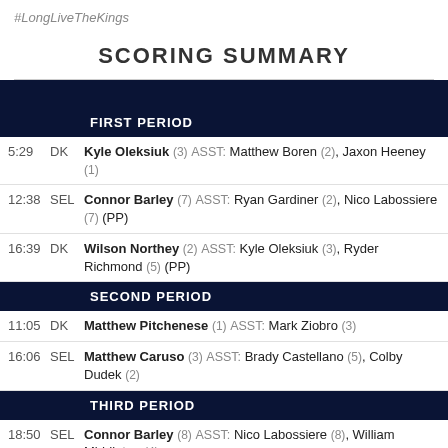#LongLiveTheKings
SCORING SUMMARY
FIRST PERIOD
5:29 DK Kyle Oleksiuk (3) ASST: Matthew Boren (2), Jaxon Heeney (1)
12:38 SEL Connor Barley (7) ASST: Ryan Gardiner (2), Nico Labossiere (7) (PP)
16:39 DK Wilson Northey (2) ASST: Kyle Oleksiuk (3), Ryder Richmond (5) (PP)
SECOND PERIOD
11:05 DK Matthew Pitchenese (1) ASST: Mark Ziobro (3)
16:06 SEL Matthew Caruso (3) ASST: Brady Castellano (5), Colby Dudek (2)
THIRD PERIOD
18:50 SEL Connor Barley (8) ASST: Nico Labossiere (8), William Middleton (4)